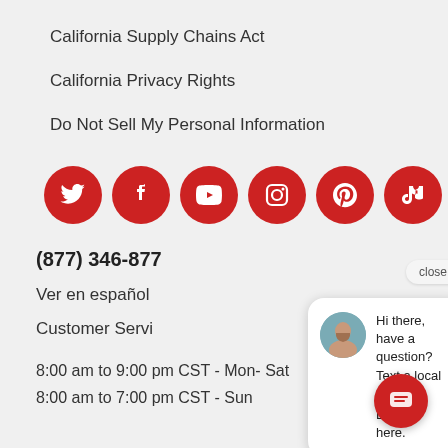California Supply Chains Act
California Privacy Rights
Do Not Sell My Personal Information
[Figure (infographic): Row of 6 red circular social media icons: Twitter, Facebook, YouTube, Instagram, Pinterest, TikTok]
(877) 346-877
Ver en español
Customer Servi
8:00 am to 9:00 pm CST - Mon- Sat
8:00 am to 7:00 pm CST - Sun
[Figure (screenshot): Chat widget overlay with close button, avatar of a woman, and message: Hi there, have a question? Text a local Sleep Expert® here. Red chat FAB button in bottom right.]